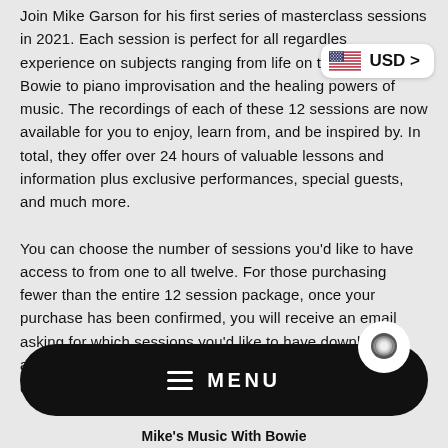Join Mike Garson for his first series of masterclass sessions in 2021. Each session is perfect for all regardless of experience on subjects ranging from life on the road with Bowie to piano improvisation and the healing powers of music. The recordings of each of these 12 sessions are now available for you to enjoy, learn from, and be inspired by. In total, they offer over 24 hours of valuable lessons and information plus exclusive performances, special guests, and much more.

You can choose the number of sessions you'd like to have access to from one to all twelve. For those purchasing fewer than the entire 12 session package, once your purchase has been confirmed, you will receive an email asking for which sessions you'd like to have download access to based on the quantity you've purchased. You can choose from the following fi...
[Figure (other): USD currency selector pill with US flag and 'USD >' text]
Mike's Music With Bowie